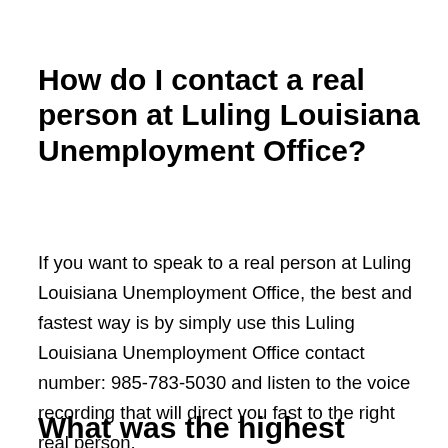How do I contact a real person at Luling Louisiana Unemployment Office?
If you want to speak to a real person at Luling Louisiana Unemployment Office, the best and fastest way is by simply use this Luling Louisiana Unemployment Office contact number: 985-783-5030 and listen to the voice recording that will direct you fast to the right real person.
What was the highest